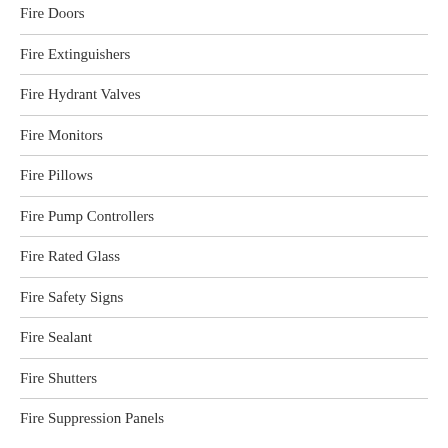Fire Doors
Fire Extinguishers
Fire Hydrant Valves
Fire Monitors
Fire Pillows
Fire Pump Controllers
Fire Rated Glass
Fire Safety Signs
Fire Sealant
Fire Shutters
Fire Suppression Panels